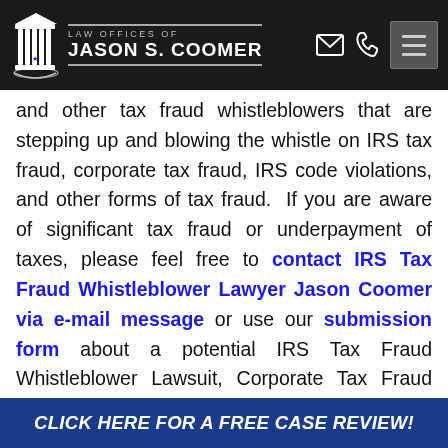Law Offices of Jason S. Coomer
and other tax fraud whistleblowers that are stepping up and blowing the whistle on IRS tax fraud, corporate tax fraud, IRS code violations, and other forms of tax fraud. If you are aware of significant tax fraud or underpayment of taxes, please feel free to contact IRS Tax Fraud Whistleblower Lawyer Jason Coomer via e-mail message or use our submission form about a potential IRS Tax Fraud Whistleblower Lawsuit, Corporate Tax Fraud Whistleblower Lawsuit, IRS Whistleblower Reward Lawsuit, IRS Payment for Fraud Detection Lawsuit, IRS
CLICK HERE FOR A FREE CASE REVIEW!